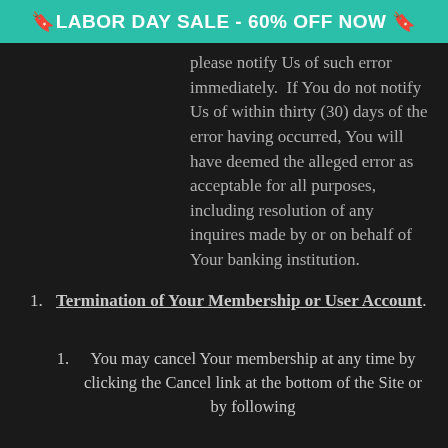🔖LABOR DAY SALE - 60% OFF NOW 🔖
please notify Us of such error immediately.  If You do not notify Us of within thirty (30) days of the error having occurred, You will have deemed the alleged error as acceptable for all purposes, including resolution of any inquires made by or on behalf of Your banking institution.
1. Termination of Your Membership or User Account.
1. You may cancel Your membership at any time by clicking the Cancel link at the bottom of the Site or by following